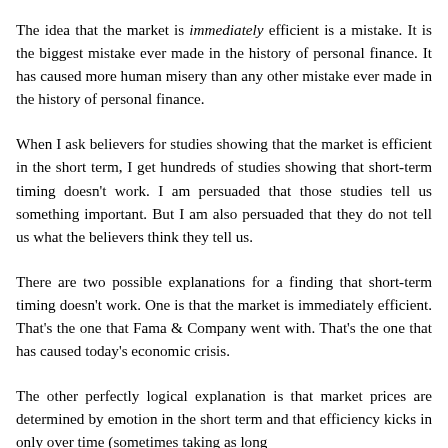The idea that the market is immediately efficient is a mistake. It is the biggest mistake ever made in the history of personal finance. It has caused more human misery than any other mistake ever made in the history of personal finance.
When I ask believers for studies showing that the market is efficient in the short term, I get hundreds of studies showing that short-term timing doesn't work. I am persuaded that those studies tell us something important. But I am also persuaded that they do not tell us what the believers think they tell us.
There are two possible explanations for a finding that short-term timing doesn't work. One is that the market is immediately efficient. That's the one that Fama & Company went with. That's the one that has caused today's economic crisis.
The other perfectly logical explanation is that market prices are determined by emotion in the short term and that efficiency kicks in only over time (sometimes taking as long